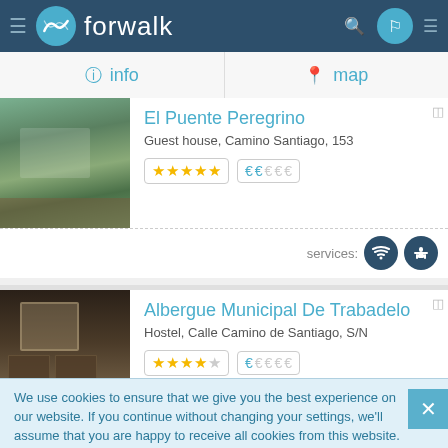forwalk
info   map
El Puente Peregrino
Guest house, Camino Santiago, 153
★★★★★  € € € € €   services: wifi, restaurant
Albergue Municipal De Trabadelo
Hostel, Calle Camino de Santiago, S/N
★★★★☆  € € € € €   services: wifi, food
We use cookies to ensure that we give you the best experience on our website. If you continue without changing your settings, we'll assume that you are happy to receive all cookies from this website. If you would